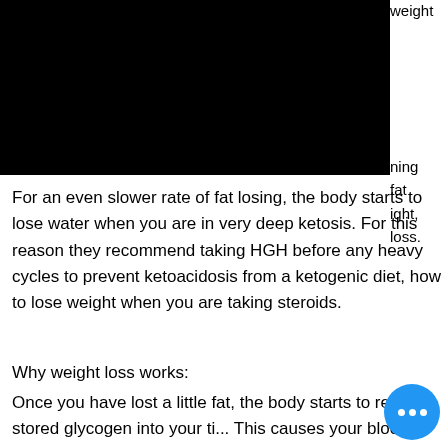50% OFF ON ALL PRODUCT BEFORE DECEMBER!!
[Figure (logo): WRAPITS.CO.UK logo in teal/cyan monospace text on black background with shopping bag icon and hamburger menu icon]
weight
ning fat ight, loss.
For an even slower rate of fat losing, the body starts to lose water when you are in very deep ketosis. For this reason they recommend taking HGH before any heavy cycles to prevent ketoacidosis from a ketogenic diet, how to lose weight when you are taking steroids.
Why weight loss works:
Once you have lost a little fat, the body starts to release stored glycogen into your ti... This causes your blood sugar to drop by about 1%, as your body starts to pump blood